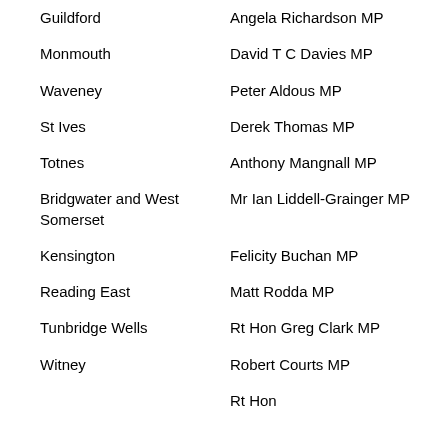| Constituency | MP | Value |
| --- | --- | --- |
| Guildford | Angela Richardson MP | 6 |
| Monmouth | David T C Davies MP | 6 |
| Waveney | Peter Aldous MP | 6 |
| St Ives | Derek Thomas MP | 6 |
| Totnes | Anthony Mangnall MP | 6 |
| Bridgwater and West Somerset | Mr Ian Liddell-Grainger MP | 6 |
| Kensington | Felicity Buchan MP | 6 |
| Reading East | Matt Rodda MP | 6 |
| Tunbridge Wells | Rt Hon Greg Clark MP | 6 |
| Witney | Robert Courts MP | 5 |
|  | Rt Hon ... |  |